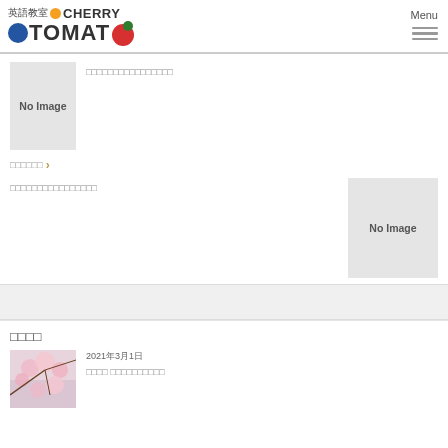[Figure (logo): 英語教室 Cherry Tomato logo with colored circles]
Menu
[Figure (other): No Image placeholder box (small)]
□□□□□□□□□□□□□□□□
□□□□□□ ›
□□□□□□□□□□□□□□□□
[Figure (other): No Image placeholder box (large)]
□□□□
2021年3月1日
□□□□ □□□□□□□□□□